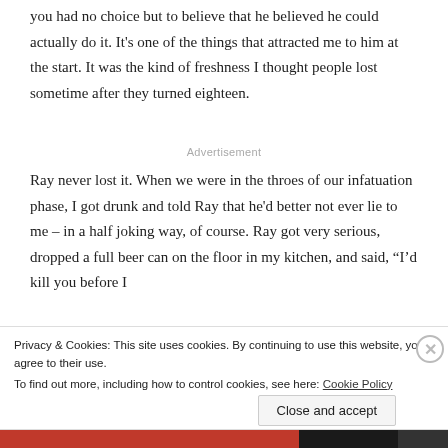you had no choice but to believe that he believed he could actually do it. It's one of the things that attracted me to him at the start. It was the kind of freshness I thought people lost sometime after they turned eighteen.
Advertisement
Ray never lost it. When we were in the throes of our infatuation phase, I got drunk and told Ray that he'd better not ever lie to me – in a half joking way, of course. Ray got very serious, dropped a full beer can on the floor in my kitchen, and said, “I’d kill you before I
Privacy & Cookies: This site uses cookies. By continuing to use this website, you agree to their use.
To find out more, including how to control cookies, see here: Cookie Policy
Close and accept